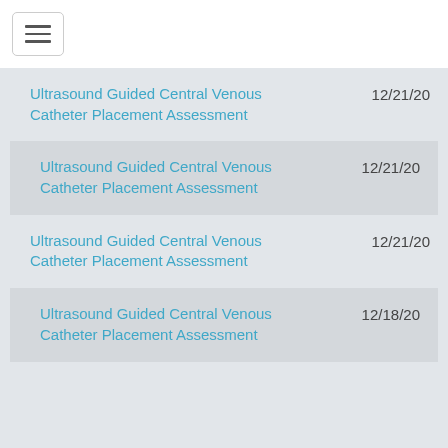[Figure (screenshot): Hamburger menu toggle button in top navigation bar]
Ultrasound Guided Central Venous Catheter Placement Assessment  12/21/20
Ultrasound Guided Central Venous Catheter Placement Assessment  12/21/20
Ultrasound Guided Central Venous Catheter Placement Assessment  12/21/20
Ultrasound Guided Central Venous Catheter Placement Assessment  12/18/20